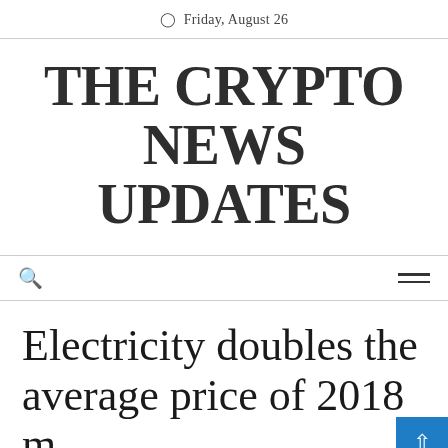Friday, August 26
THE CRYPTO NEWS UPDATES
🔍 ≡
Electricity doubles the average price of 2018 m